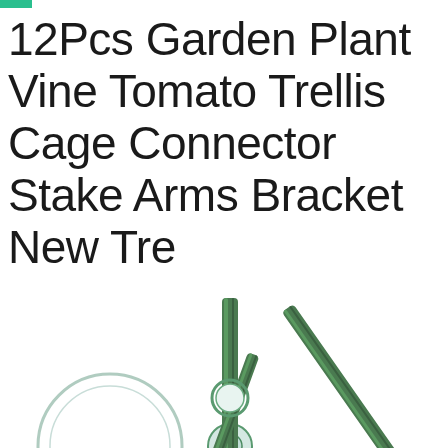12Pcs Garden Plant Vine Tomato Trellis Cage Connector Stake Arms Bracket New Tre
[Figure (photo): Green garden plant stake connector bracket product photo showing a circular connector ring with green metal rods/stakes crossing through it diagonally against a white background]